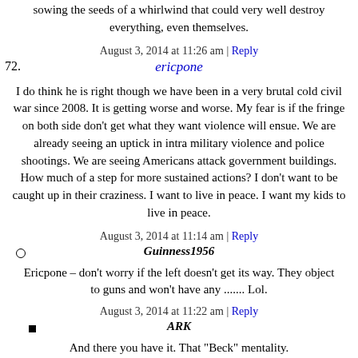sowing the seeds of a whirlwind that could very well destroy everything, even themselves.
August 3, 2014 at 11:26 am | Reply
72. ericpone
I do think he is right though we have been in a very brutal cold civil war since 2008. It is getting worse and worse. My fear is if the fringe on both side don't get what they want violence will ensue. We are already seeing an uptick in intra military violence and police shootings. We are seeing Americans attack government buildings. How much of a step for more sustained actions? I don't want to be caught up in their craziness. I want to live in peace. I want my kids to live in peace.
August 3, 2014 at 11:14 am | Reply
Guinness1956
Ericpone – don't worry if the left doesn't get its way. They object to guns and won't have any ....... Lol.
August 3, 2014 at 11:22 am | Reply
ARK
And there you have it. That "Beck" mentality.